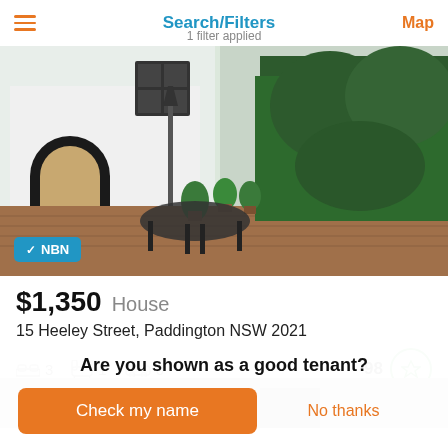Search/Filters
1 filter applied
[Figure (photo): Exterior courtyard of a white-painted terrace house with black wrought iron outdoor furniture, potted topiary, a dark arched doorway, and a tall hedge. NBN badge in bottom left.]
$1,350  House
15 Heeley Street,  Paddington NSW 2021
3  1  0  98
[Figure (photo): Partial view of a second property listing photo, partially obscured by overlay.]
Are you shown as a good tenant?
Check my name
No thanks